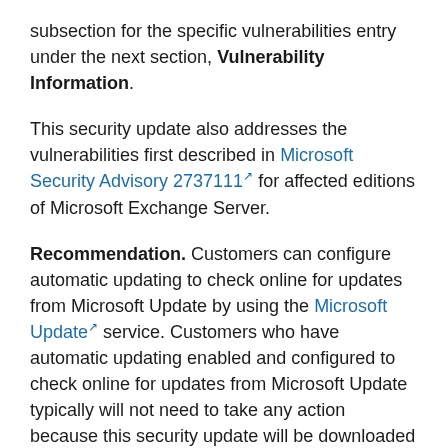subsection for the specific vulnerabilities entry under the next section, Vulnerability Information.
This security update also addresses the vulnerabilities first described in Microsoft Security Advisory 2737111 for affected editions of Microsoft Exchange Server.
Recommendation. Customers can configure automatic updating to check online for updates from Microsoft Update by using the Microsoft Update service. Customers who have automatic updating enabled and configured to check online for updates from Microsoft Update typically will not need to take any action because this security update will be downloaded and installed automatically. Customers who have not enabled automatic updating need to check for updates from Microsoft Update and install this update manually. For information about specific configuration options in automatic updating in supported editions of